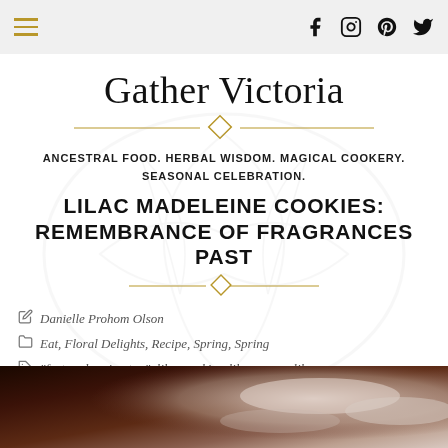Gather Victoria — navigation bar with hamburger menu and social icons
Gather Victoria
ANCESTRAL FOOD. HERBAL WISDOM. MAGICAL COOKERY. SEASONAL CELEBRATION.
LILAC MADELEINE COOKIES: REMEMBRANCE OF FRAGRANCES PAST
Danielle Prohom Olson
Eat, Floral Delights, Recipe, Spring, Spring
"featured spring tag", lilac cookies, lilac cream, lilac sugar
13 Comments
[Figure (photo): Bottom strip showing ceramic cups/bowls with warm tones, partial view]